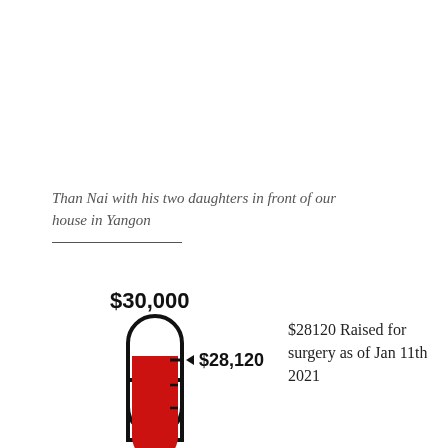Than Nai with his two daughters in front of our house in Yangon
[Figure (infographic): Thermometer fundraising graphic showing $28,120 raised toward a $30,000 goal. The thermometer is filled with red color up to approximately 94% of its height. The label $30,000 appears above the thermometer and $28,120 appears with an arrow pointing to the current fill level.]
$28120 Raised for surgery as of Jan 11th 2021